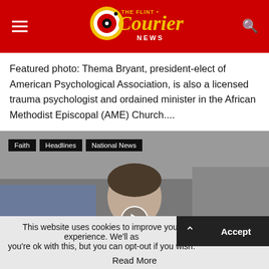[Figure (logo): The Flint Courier News logo on red background with hamburger menu and search icon]
Featured photo: Thema Bryant, president-elect of American Psychological Association, is also a licensed trauma psychologist and ordained minister in the African Methodist Episcopal (AME) Church....
Read more
[Figure (photo): Video thumbnail showing a person's head/face with play button overlay. Tags: Faith, Headlines, National News]
This website uses cookies to improve your experience. We'll as you're ok with this, but you can opt-out if you wish.
Accept
Read More